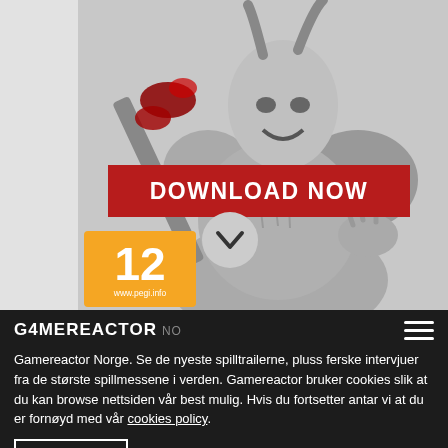[Figure (screenshot): Game advertisement image showing a monster/werewolf warrior in armor with a blood-covered sword, black and white illustration. Contains a red 'DOWNLOAD NOW' banner, a chevron/arrow button, and a PEGI 12 rating badge with www.pegi.info.]
GAMEREACTOR NO
Gamereactor Norge. Se de nyeste spilltrailerne, pluss ferske intervjuer fra de største spillmessene i verden. Gamereactor bruker cookies slik at du kan browse nettsiden vår best mulig. Hvis du fortsetter antar vi at du er fornøyd med vår cookies policy.
OK